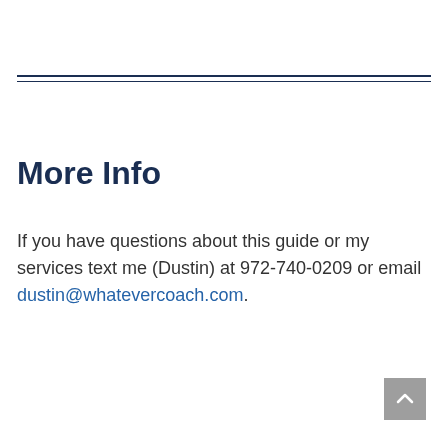More Info
If you have questions about this guide or my services text me (Dustin) at 972-740-0209 or email dustin@whatevercoach.com.